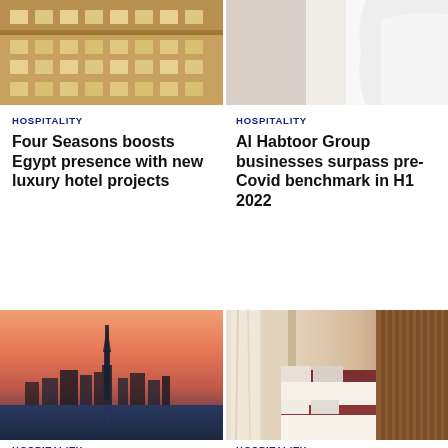[Figure (photo): Top portion of a luxury hotel building facade with ornate architecture, golden/beige tones]
[Figure (photo): Person in white shirt, close-up, right side partially visible]
HOSPITALITY
Four Seasons boosts Egypt presence with new luxury hotel projects
HOSPITALITY
Al Habtoor Group businesses surpass pre-Covid benchmark in H1 2022
[Figure (photo): Dubai skyline at sunset/dusk with Burj Khalifa visible, pink and purple sky, water in foreground]
[Figure (photo): Luxury hotel room interior with wooden wall paneling, two beds with white and dark red linens, natural light from window]
HOSPITALITY
HOSPITALITY